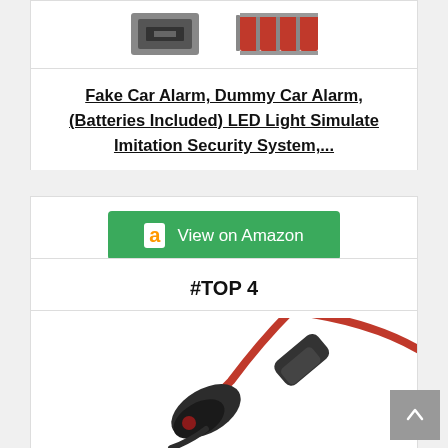[Figure (photo): Product images of a fake/dummy car alarm device and batteries]
Fake Car Alarm, Dummy Car Alarm,(Batteries Included) LED Light Simulate Imitation Security System,...
[Figure (other): Green 'View on Amazon' button with Amazon logo]
#TOP 4
[Figure (photo): Photo of a car LED warning light/sensor device with red wire cable]